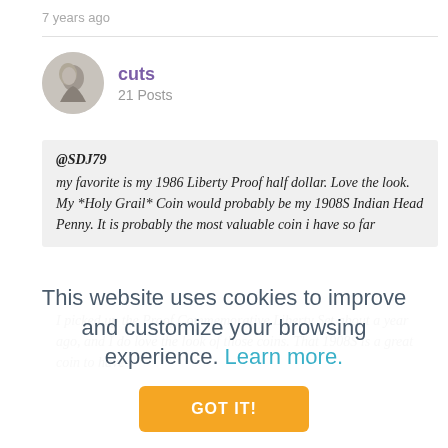7 years ago
cuts
21 Posts
@SDJ79
my favorite is my 1986 Liberty Proof half dollar. Love the look. My *Holy Grail* Coin would probably be my 1908S Indian Head Penny. It is probably the most valuable coin i have so far
I picked up the Proof Commemorative Liberty Set about a year ago, and I do love the look of those coins. That 1908S is a great coin to have
This website uses cookies to improve and customize your browsing experience. Learn more.
GOT IT!